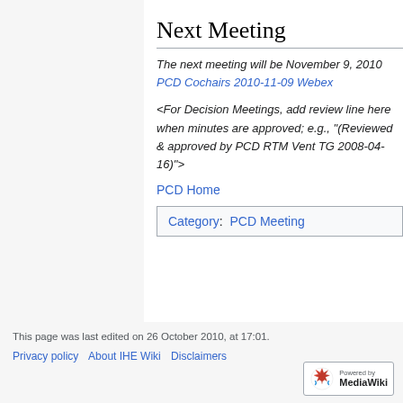Next Meeting
The next meeting will be November 9, 2010 PCD Cochairs 2010-11-09 Webex
<For Decision Meetings, add review line here when minutes are approved; e.g., "(Reviewed & approved by PCD RTM Vent TG 2008-04-16)">
PCD Home
| Category:  PCD Meeting |
This page was last edited on 26 October 2010, at 17:01.
Privacy policy   About IHE Wiki   Disclaimers